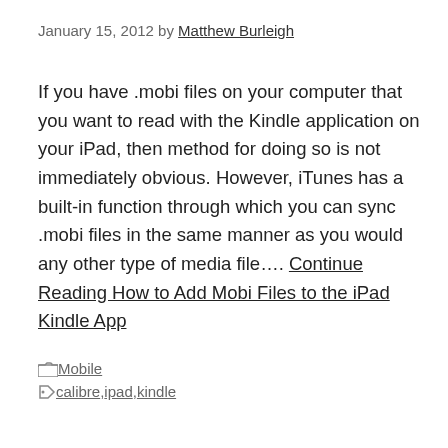January 15, 2012 by Matthew Burleigh
If you have .mobi files on your computer that you want to read with the Kindle application on your iPad, then method for doing so is not immediately obvious. However, iTunes has a built-in function through which you can sync .mobi files in the same manner as you would any other type of media file…. Continue Reading How to Add Mobi Files to the iPad Kindle App
Mobile
calibre, ipad, kindle